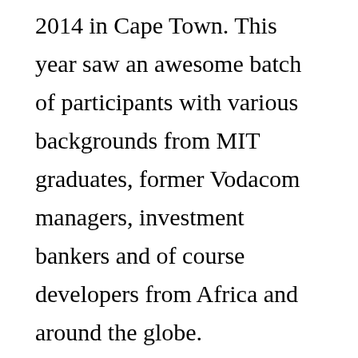2014 in Cape Town. This year saw an awesome batch of participants with various backgrounds from MIT graduates, former Vodacom managers, investment bankers and of course developers from Africa and around the globe.
A total of six Namibian participants qualified to board the bus. Two of those, Anastacia Shipepe of team MEM(a platform to facilitate growth for SME’s in Africa)  and